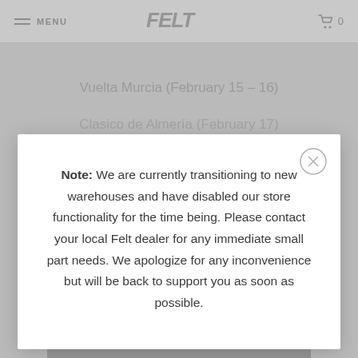MENU | FELT | 0
Vuelta Murcia (February 15 – 16)
Clasico de Almería (February 17)
Note: We are currently transitioning to new warehouses and have disabled our store functionality for the time being. Please contact your local Felt dealer for any immediate small part needs. We apologize for any inconvenience but will be back to support you as soon as possible.
[Figure (screenshot): Gray image placeholder at the bottom showing the Felt bicycle brand logo watermark]